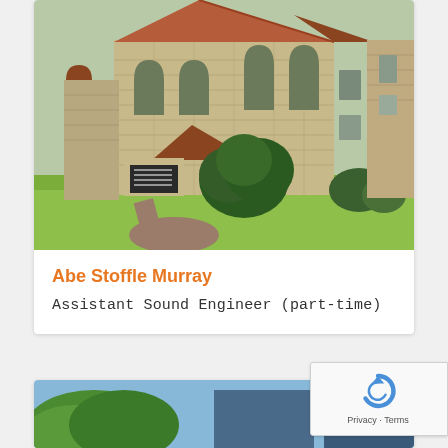[Figure (photo): Exterior photo of a stone church building with arched windows, red/brown tiled roof, gothic architectural details, green shrubs and lawn in foreground, brick pathway visible]
Abe Stoffle Murray
Assistant Sound Engineer (part-time)
[Figure (photo): Partially visible photo at bottom of page, appears to show an outdoor scene with blue sky and greenery]